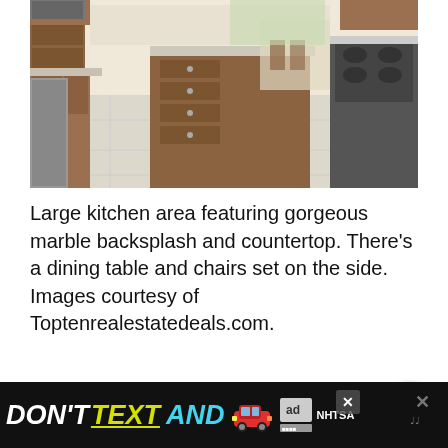[Figure (photo): Large kitchen interior with marble countertops, marble backsplash, wooden cabinetry, kitchen island with drawers, stainless steel appliances, and a dining table with chairs visible in the background. Light beige tile flooring throughout.]
Large kitchen area featuring gorgeous marble backsplash and countertop. There’s a dining table and chairs set on the side. Images courtesy of Toptenrealestatedeals.com.
[Figure (infographic): Advertisement banner: DON'T TEXT AND [car emoji] with ad badge and NHTSA logo, with close X buttons]